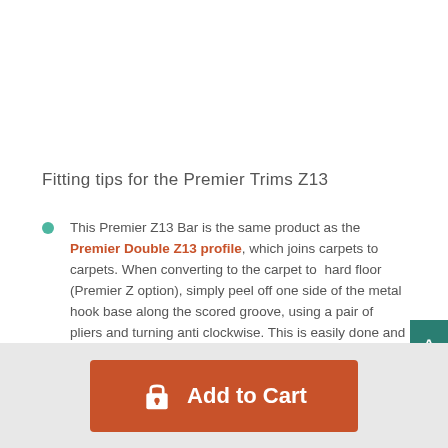Fitting tips for the Premier Trims Z13
This Premier Z13 Bar is the same product as the Premier Double Z13 profile, which joins carpets to carpets. When converting to the carpet to hard floor (Premier Z option), simply peel off one side of the metal hook base along the scored groove, using a pair of pliers and turning anti clockwise. This is easily done and takes a couple of minutes.
Thick carpets can be compressed onto the pins before
[Figure (other): Add to Cart button with lock icon on orange/rust background, with light grey bottom bar]